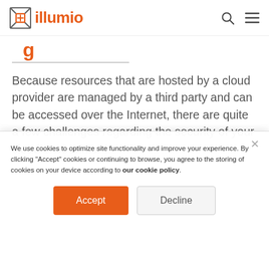illumio
Because resources that are hosted by a cloud provider are managed by a third party and can be accessed over the Internet, there are quite a few challenges regarding the security of your cloud environment.
We use cookies to optimize site functionality and improve your experience. By clicking "Accept" cookies or continuing to browse, you agree to the storing of cookies on your device according to our cookie policy.